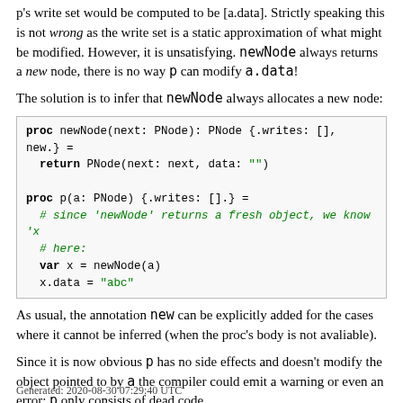p's write set would be computed to be [a.data]. Strictly speaking this is not wrong as the write set is a static approximation of what might be modified. However, it is unsatisfying. newNode always returns a new node, there is no way p can modify a.data!
The solution is to infer that newNode always allocates a new node:
[Figure (screenshot): Code block showing proc newNode and proc p with annotations about write sets and fresh object allocation]
As usual, the annotation new can be explicitly added for the cases where it cannot be inferred (when the proc's body is not avaliable).
Since it is now obvious p has no side effects and doesn't modify the object pointed to by a the compiler could emit a warning or even an error; p only consists of dead code.
Generated: 2020-08-30 07:29:40 UTC